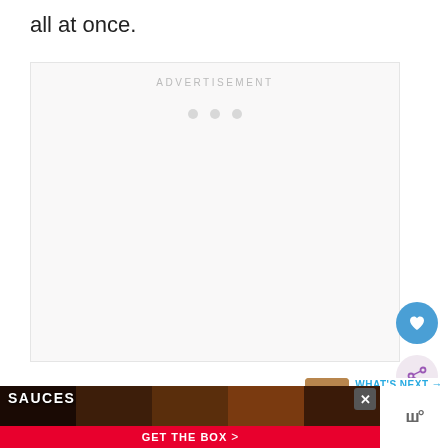all at once.
[Figure (other): Advertisement placeholder box with 'ADVERTISEMENT' label and three loading dots]
[Figure (other): Blue circular heart/favorite button icon]
[Figure (other): Pink/light circular share button icon with share symbol]
[Figure (other): What's Next panel showing Cornmeal Biscuits thumbnail with text 'WHAT'S NEXT → Cornmeal Biscuits wit...']
[Figure (other): Bottom advertisement bar: dark background with food images, SAUCES text, GET THE BOX button in red, close X button, and logo on right]